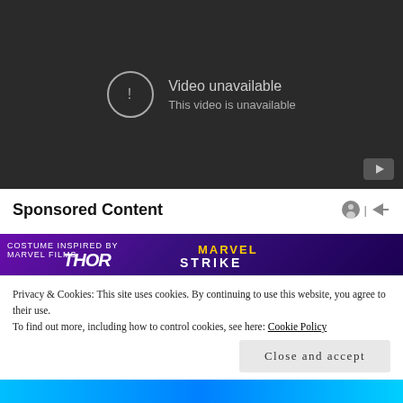[Figure (screenshot): YouTube-style video player showing 'Video unavailable' error message on dark background with circular exclamation icon and YouTube play button in bottom right corner]
Sponsored Content
[Figure (screenshot): Sponsored content advertisement banner with purple background showing Thor and Marvel Strike Force game imagery]
Privacy & Cookies: This site uses cookies. By continuing to use this website, you agree to their use.
To find out more, including how to control cookies, see here: Cookie Policy
Close and accept